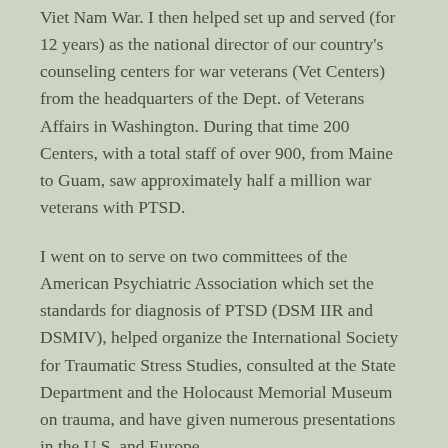Viet Nam War. I then helped set up and served (for 12 years) as the national director of our country's counseling centers for war veterans (Vet Centers) from the headquarters of the Dept. of Veterans Affairs in Washington. During that time 200 Centers, with a total staff of over 900, from Maine to Guam, saw approximately half a million war veterans with PTSD.
I went on to serve on two committees of the American Psychiatric Association which set the standards for diagnosis of PTSD (DSM IIR and DSMIV), helped organize the International Society for Traumatic Stress Studies, consulted at the State Department and the Holocaust Memorial Museum on trauma, and have given numerous presentations in the U.S. and Europe.